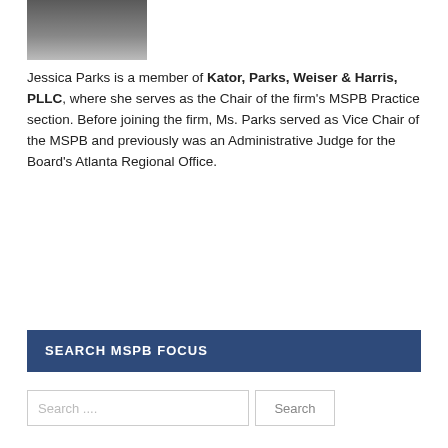[Figure (photo): Portrait photo of Jessica Parks, partially visible at top of page]
Jessica Parks is a member of Kator, Parks, Weiser & Harris, PLLC, where she serves as the Chair of the firm's MSPB Practice section. Before joining the firm, Ms. Parks served as Vice Chair of the MSPB and previously was an Administrative Judge for the Board's Atlanta Regional Office.
SEARCH MSPB FOCUS
Search ... [input field] Search [button]
CATEGORIES